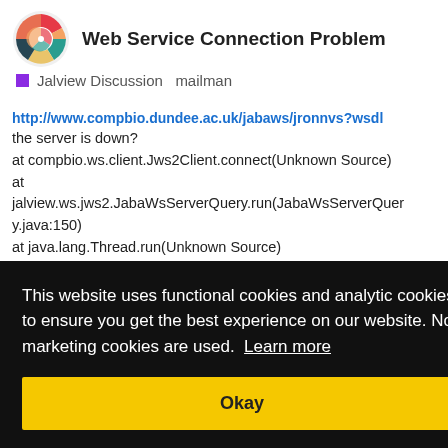Web Service Connection Problem — Jalview Discussion mailman
http://www.compbio.dundee.ac.uk/jabaws/jronnvs?wsdl the server is down?
at compbio.ws.client.Jws2Client.connect(Unknown Source)
at jalview.ws.jws2.JabaWsServerQuery.run(JabaWsServerQuery.java:150)
at java.lang.Thread.run(Unknown Source)
Connecting to JABAWS version 2 service
[Figure (screenshot): Cookie consent overlay with text: 'This website uses functional cookies and analytic cookies to ensure you get the best experience on our website. No marketing cookies are used. Learn more' and an Okay button]
at